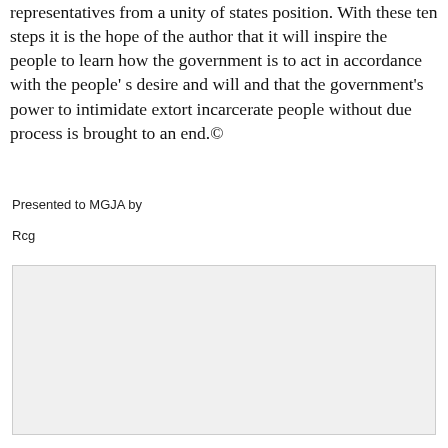representatives from a unity of states position. With these ten steps it is the hope of the author that it will inspire the people to learn how the government is to act in accordance with the people's desire and will and that the government's power to intimidate extort incarcerate people without due process is brought to an end.©
Presented to MGJA by
Rcg
[Figure (other): Light gray shaded rectangle box, likely a placeholder or image area]